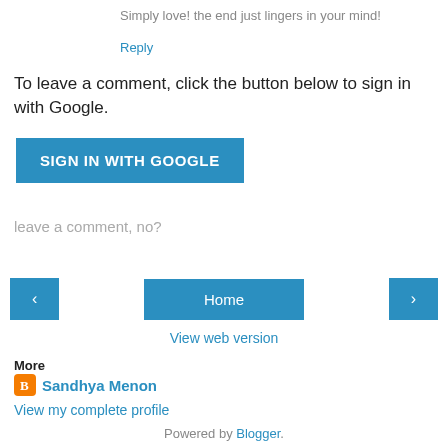Simply love! the end just lingers in your mind!
Reply
To leave a comment, click the button below to sign in with Google.
SIGN IN WITH GOOGLE
leave a comment, no?
‹
Home
›
View web version
More
Sandhya Menon
View my complete profile
Powered by Blogger.